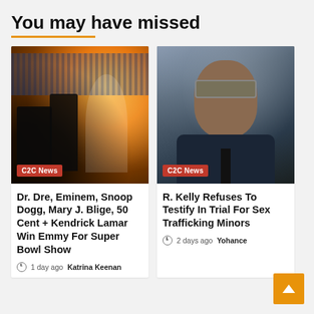You may have missed
[Figure (photo): Concert performance photo showing performers on stage with crowd in background, labeled C2C News]
Dr. Dre, Eminem, Snoop Dogg, Mary J. Blige, 50 Cent + Kendrick Lamar Win Emmy For Super Bowl Show
1 day ago   Katrina Keenan
[Figure (photo): Portrait photo of R. Kelly wearing sunglasses and dark suit, labeled C2C News]
R. Kelly Refuses To Testify In Trial For Sex Trafficking Minors
2 days ago   Yohance